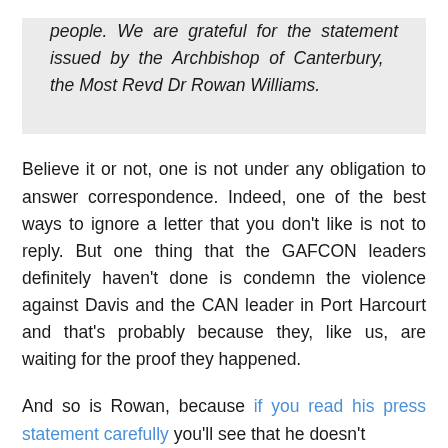people. We are grateful for the statement issued by the Archbishop of Canterbury, the Most Revd Dr Rowan Williams.
Believe it or not, one is not under any obligation to answer correspondence. Indeed, one of the best ways to ignore a letter that you don't like is not to reply. But one thing that the GAFCON leaders definitely haven't done is condemn the violence against Davis and the CAN leader in Port Harcourt and that's probably because they, like us, are waiting for the proof they happened.
And so is Rowan, because if you read his press statement carefully you'll see that he doesn't